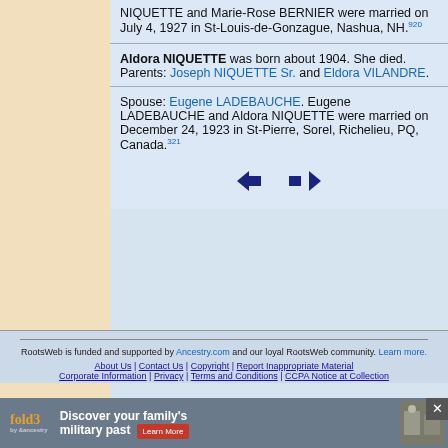NIQUETTE and Marie-Rose BERNIER were married on July 4, 1927 in St-Louis-de-Gonzague, Nashua, NH.[920]
Aldora NIQUETTE was born about 1904. She died. Parents: Joseph NIQUETTE Sr. and Eldora VILANDRE.
Spouse: Eugene LADEBAUCHE. Eugene LADEBAUCHE and Aldora NIQUETTE were married on December 24, 1923 in St-Pierre, Sorel, Richelieu, PQ, Canada.[321]
[Figure (other): Navigation arrows: left arrow and right arrow]
RootsWeb is funded and supported by Ancestry.com and our loyal RootsWeb community. Learn more.
About Us | Contact Us | Copyright | Report Inappropriate Material | Corporate Information | Privacy | Terms and Conditions | CCPA Notice at Collection
[Figure (other): Advertisement banner for fold3 by Ancestry: Discover your family's military past. Learn More button. Photo of soldiers in background.]